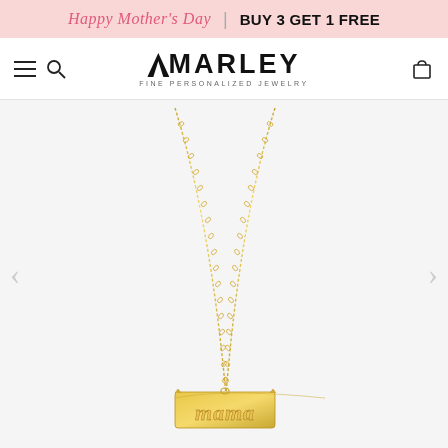Happy Mother's Day | BUY 3 GET 1 FREE
[Figure (logo): AMARLEY Fine Personalized Jewelry logo with mountain peak accent above the A]
[Figure (photo): Gold necklace with a thin chain and 'mama' pendant written in old English/gothic style lettering, photographed on white background. The necklace chain forms a V-shape draping down to the pendant.]